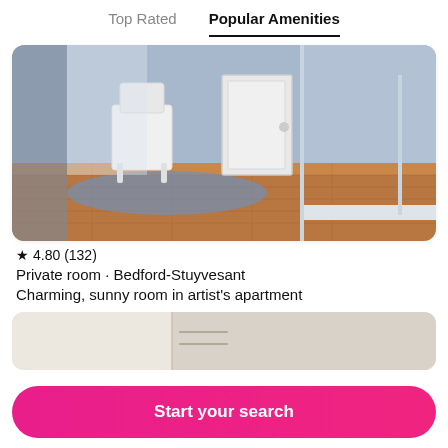Top Rated	Popular Amenities
[Figure (photo): Interior room photo showing a bright blue-walled room with white chair, hardwood floor, and blue area rug near a white door]
★ 4.80 (132)
Private room · Bedford-Stuyvesant
Charming, sunny room in artist's apartment
[Figure (photo): Partial photo of white/cream cabinet or appliance, cropped at bottom of card]
Start your search